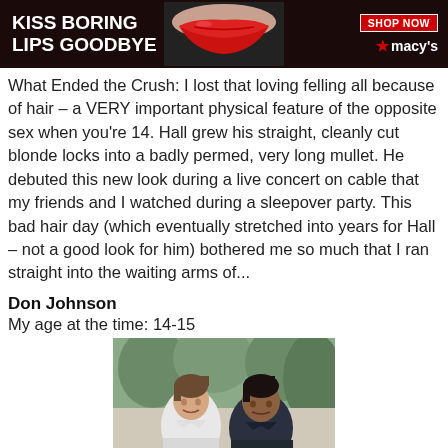[Figure (infographic): Macy's advertisement banner with dark background, woman's lips with red lipstick, text KISS BORING LIPS GOODBYE on left, SHOP NOW button and Macy's star logo on right]
What Ended the Crush: I lost that loving felling all because of hair – a VERY important physical feature of the opposite sex when you're 14. Hall grew his straight, cleanly cut blonde locks into a badly permed, very long mullet. He debuted this new look during a live concert on cable that my friends and I watched during a sleepover party. This bad hair day (which eventually stretched into years for Hall – not a good look for him) bothered me so much that I ran straight into the waiting arms of...
Don Johnson
My age at the time: 14-15
[Figure (photo): Black and white / color photo of two men, likely Don Johnson and co-star from Miami Vice, standing together outdoors with palm trees in background]